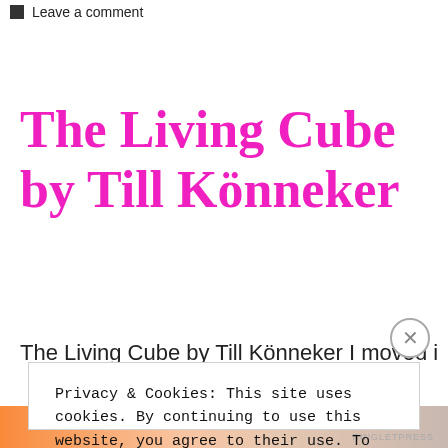Leave a comment
The Living Cube by Till Könneker
The Living Cube by Till Könneker I moved into
Privacy & Cookies: This site uses cookies. By continuing to use this website, you agree to their use. To find out more, including how to control cookies, see here: Cookie Policy
Close and accept